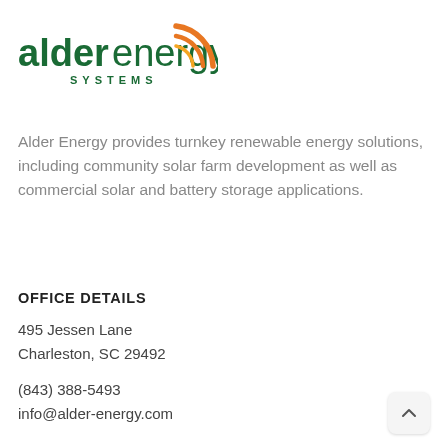[Figure (logo): Alder Energy Systems logo with green text 'alder energy' and orange swoosh graphic, 'SYSTEMS' in small caps below]
Alder Energy provides turnkey renewable energy solutions, including community solar farm development as well as commercial solar and battery storage applications.
OFFICE DETAILS
495 Jessen Lane
Charleston, SC 29492
(843) 388-5493
info@alder-energy.com